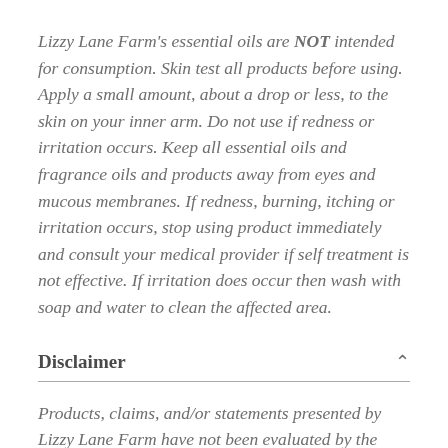Lizzy Lane Farm's essential oils are NOT intended for consumption. Skin test all products before using. Apply a small amount, about a drop or less, to the skin on your inner arm. Do not use if redness or irritation occurs. Keep all essential oils and fragrance oils and products away from eyes and mucous membranes. If redness, burning, itching or irritation occurs, stop using product immediately and consult your medical provider if self treatment is not effective. If irritation does occur then wash with soap and water to clean the affected area.
Disclaimer
Products, claims, and/or statements presented by Lizzy Lane Farm have not been evaluated by the